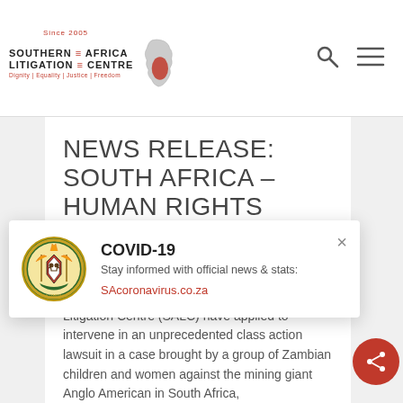Southern Africa Litigation Centre – Since 2005 – Dignity | Equality | Justice | Freedom
NEWS RELEASE: SOUTH AFRICA – HUMAN RIGHTS GROUPS INTERVENE IN HISTORIC CLASS
[Figure (infographic): COVID-19 popup overlay with South African government coat of arms seal, title 'COVID-19', subtitle 'Stay informed with official news & stats:', and link 'SAcoronavirus.co.za' with a close button]
Amnesty International and the Southern Africa Litigation Centre (SALC) have applied to intervene in an unprecedented class action lawsuit in a case brought by a group of Zambian children and women against the mining giant Anglo American in South Africa,